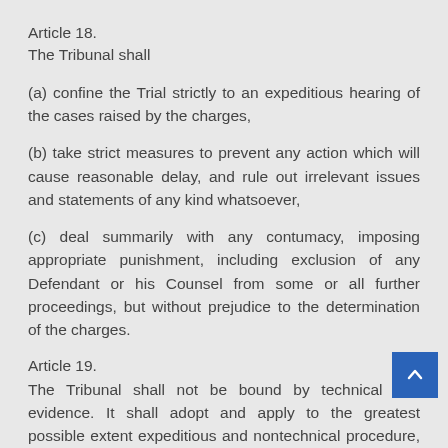Article 18.
The Tribunal shall
(a) confine the Trial strictly to an expeditious hearing of the cases raised by the charges,
(b) take strict measures to prevent any action which will cause reasonable delay, and rule out irrelevant issues and statements of any kind whatsoever,
(c) deal summarily with any contumacy, imposing appropriate punishment, including exclusion of any Defendant or his Counsel from some or all further proceedings, but without prejudice to the determination of the charges.
Article 19.
The Tribunal shall not be bound by technical rules of evidence. It shall adopt and apply to the greatest possible extent expeditious and nontechnical procedure, and shall